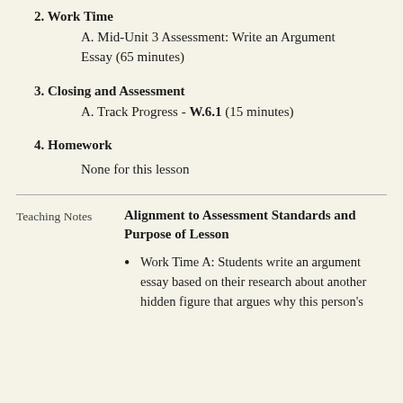2. Work Time
A. Mid-Unit 3 Assessment: Write an Argument Essay (65 minutes)
3. Closing and Assessment
A. Track Progress - W.6.1 (15 minutes)
4. Homework
None for this lesson
Teaching Notes
Alignment to Assessment Standards and Purpose of Lesson
Work Time A: Students write an argument essay based on their research about another hidden figure that argues why this person's